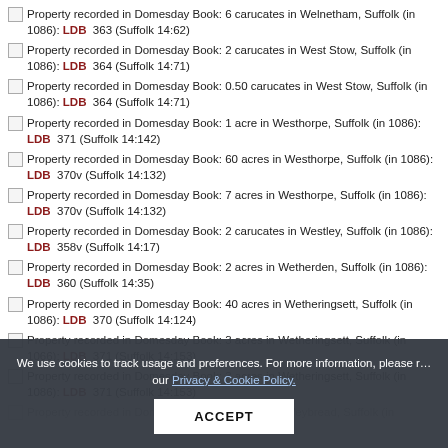Property recorded in Domesday Book: 6 carucates in Welnetham, Suffolk (in 1086): LDB 363 (Suffolk 14:62)
Property recorded in Domesday Book: 2 carucates in West Stow, Suffolk (in 1086): LDB 364 (Suffolk 14:71)
Property recorded in Domesday Book: 0.50 carucates in West Stow, Suffolk (in 1086): LDB 364 (Suffolk 14:71)
Property recorded in Domesday Book: 1 acre in Westhorpe, Suffolk (in 1086): LDB 371 (Suffolk 14:142)
Property recorded in Domesday Book: 60 acres in Westhorpe, Suffolk (in 1086): LDB 370v (Suffolk 14:132)
Property recorded in Domesday Book: 7 acres in Westhorpe, Suffolk (in 1086): LDB 370v (Suffolk 14:132)
Property recorded in Domesday Book: 2 carucates in Westley, Suffolk (in 1086): LDB 358v (Suffolk 14:17)
Property recorded in Domesday Book: 2 acres in Wetherden, Suffolk (in 1086): LDB 360 (Suffolk 14:35)
Property recorded in Domesday Book: 40 acres in Wetheringsett, Suffolk (in 1086): LDB 370 (Suffolk 14:124)
Property recorded in Domesday Book: 3 acres in Wetheringsett, Suffolk (in 1066): LDB 371 (Suffolk 14:153)
Property recorded in Domesday Book: 3 acres in Wetheringsett, Suffolk (in 1086): LDB 371 (Suffolk 14:153)
Property recorded in Domesday Book: 30 acres in Weybread, Suffolk (in [obscured by cookie banner])
[Cookie banner overlay] We use cookies to track usage and preferences. For more information, please read our Privacy & Cookie Policy. [ACCEPT button]